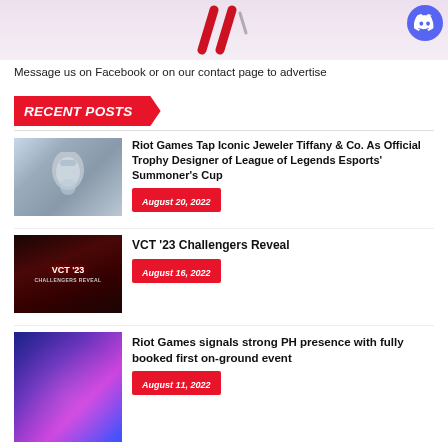[Figure (illustration): Banner image with red diagonal slashes on light pink background, Discord button in top right corner]
Message us on Facebook or on our contact page to advertise
RECENT POSTS
[Figure (photo): Close-up photo of hands holding a trophy (Summoner's Cup)]
Riot Games Tap Iconic Jeweler Tiffany & Co. As Official Trophy Designer of League of Legends Esports' Summoner's Cup
August 20, 2022
[Figure (photo): VCT '23 Challengers Reveal promotional image with red arena background]
VCT '23 Challengers Reveal
August 16, 2022
[Figure (photo): Colorful event photo with purple and blue lighting, performers on stage]
Riot Games signals strong PH presence with fully booked first on-ground event
August 11, 2022